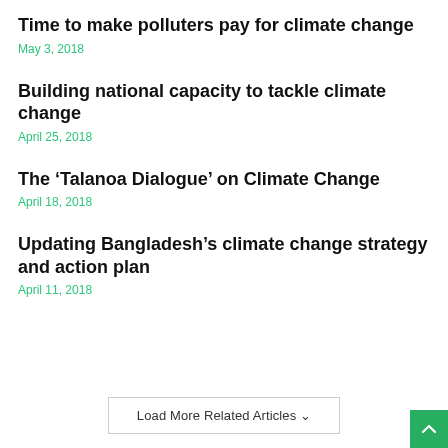Time to make polluters pay for climate change
May 3, 2018
Building national capacity to tackle climate change
April 25, 2018
The ‘Talanoa Dialogue’ on Climate Change
April 18, 2018
Updating Bangladesh’s climate change strategy and action plan
April 11, 2018
Load More Related Articles ⌄